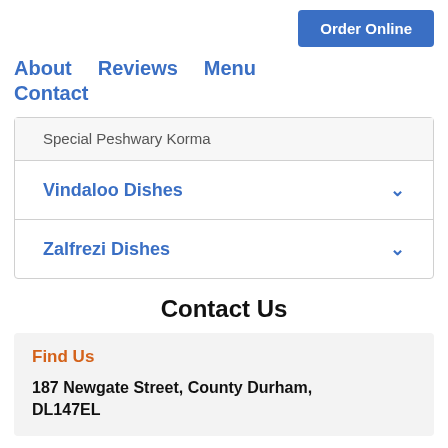Order Online
About   Reviews   Menu   Contact
Special Peshwary Korma
Vindaloo Dishes
Zalfrezi Dishes
Contact Us
Find Us
187 Newgate Street, County Durham, DL147EL